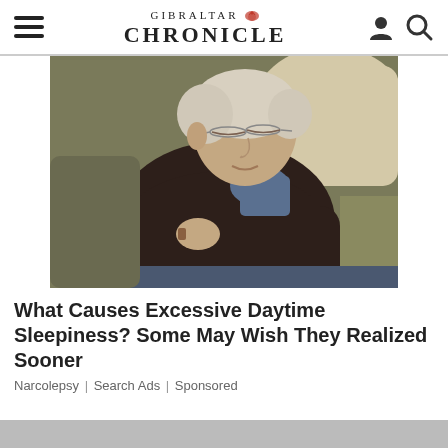GIBRALTAR CHRONICLE
[Figure (photo): Elderly man sleeping in a chair with arms crossed, wearing a dark sweater and plaid shirt, head resting against the chair back.]
What Causes Excessive Daytime Sleepiness? Some May Wish They Realized Sooner
Narcolepsy | Search Ads | Sponsored